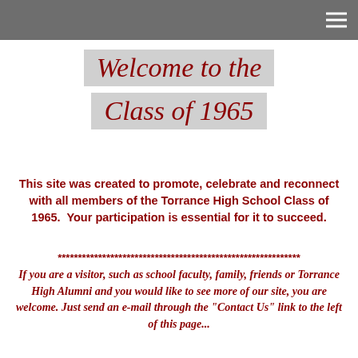Welcome to the Class of 1965
This site was created to promote, celebrate and reconnect with all members of the Torrance High School Class of 1965.  Your participation is essential for it to succeed.
************************************************************
If you are a visitor, such as school faculty, family, friends or Torrance High Alumni and you would like to see more of our site, you are welcome. Just send an e-mail through the "Contact Us" link to the left of this page...